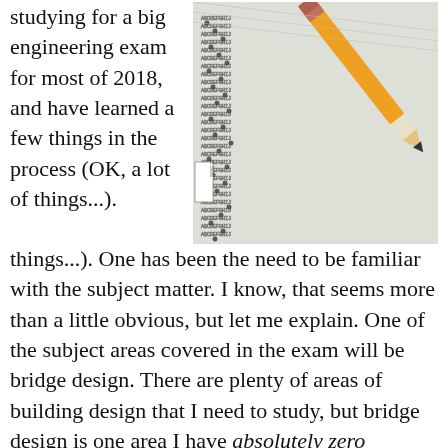studying for a big engineering exam for most of 2018, and have learned a few things in the process (OK, a lot of things...).
[Figure (photo): Close-up photo of a scantron/bubble sheet answer form with a pencil resting on it, partially filled in bubbles visible]
One has been the need to be familiar with the subject matter. I know, that seems more than a little obvious, but let me explain. One of the subject areas covered in the exam will be bridge design. There are plenty of areas of building design that I need to study, but bridge design is one area I have absolutely zero experience with, and never had any intention of pursuing. Don't get me wrong; I like seeing a well-designed, aesthetically-pleasing bridge as much as anyone, but I would've never in my life cracked open the 1,600+ page bridge manual if it weren't necessary for this exam. So this has been an excellent introduction to engineering questions...